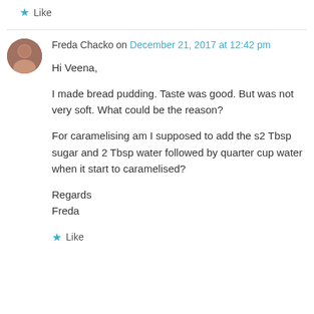★ Like
Freda Chacko on December 21, 2017 at 12:42 pm
Hi Veena,

I made bread pudding. Taste was good. But was not very soft. What could be the reason?

For caramelising am I supposed to add the s2 Tbsp sugar and 2 Tbsp water followed by quarter cup water when it start to caramelised?

Regards
Freda
★ Like